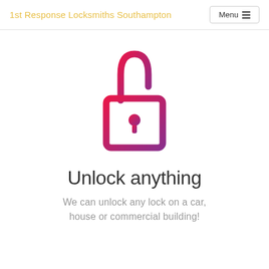1st Response Locksmiths Southampton
[Figure (illustration): Gradient padlock icon with magenta-to-purple gradient, shown unlocked (shackle open at top)]
Unlock anything
We can unlock any lock on a car, house or commercial building!